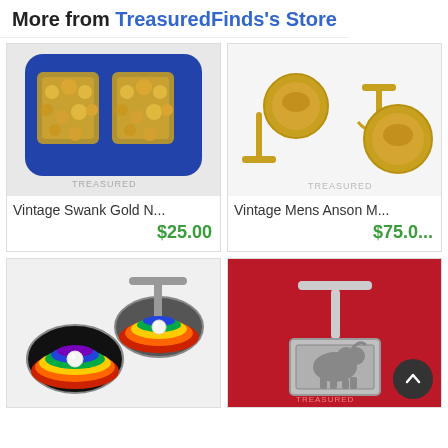More from TreasuredFinds's Store
[Figure (photo): Vintage Swank gold nugget cufflinks on blue card with TREASURED watermark]
Vintage Swank Gold N...
$25.00
[Figure (photo): Vintage Mens Anson gold coin cufflinks with chain link toggle, TREASURED watermark]
Vintage Mens Anson M...
$75.00
[Figure (photo): Vintage cufflinks with black enamel oval face with rainbow stripe and pearl center, toggle back]
[Figure (photo): Vintage silver rectangular cufflinks with bull/bison engraving on red background, TREASURED watermark]